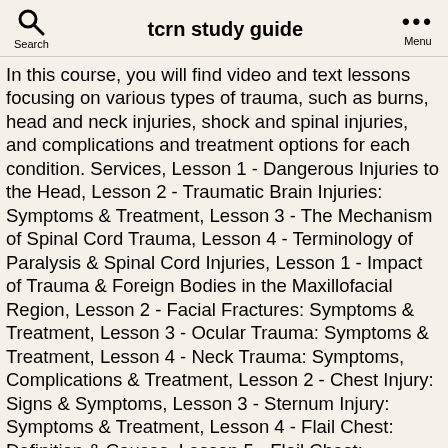tcrn study guide
In this course, you will find video and text lessons focusing on various types of trauma, such as burns, head and neck injuries, shock and spinal injuries, and complications and treatment options for each condition. Services, Lesson 1 - Dangerous Injuries to the Head, Lesson 2 - Traumatic Brain Injuries: Symptoms & Treatment, Lesson 3 - The Mechanism of Spinal Cord Trauma, Lesson 4 - Terminology of Paralysis & Spinal Cord Injuries, Lesson 1 - Impact of Trauma & Foreign Bodies in the Maxillofacial Region, Lesson 2 - Facial Fractures: Symptoms & Treatment, Lesson 3 - Ocular Trauma: Symptoms & Treatment, Lesson 4 - Neck Trauma: Symptoms, Complications & Treatment, Lesson 2 - Chest Injury: Signs & Symptoms, Lesson 3 - Sternum Injury: Symptoms & Treatment, Lesson 4 - Flail Chest: Definition & Causes, Lesson 5 - Flail Chest: Symptoms & Treatment, Lesson 6 - Flail Chest: Management & Complications, Lesson 7 - Respiratory Trauma Injuries: Types, Symptoms & Treatment, Lesson 8 - Lung